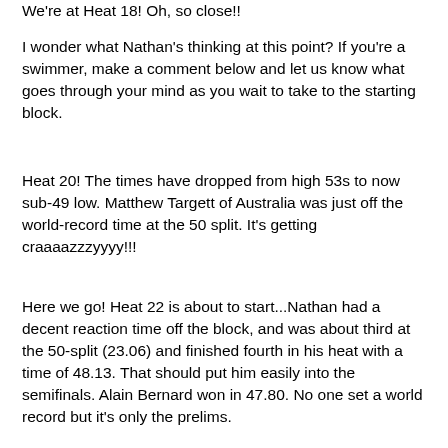We're at Heat 18! Oh, so close!!
I wonder what Nathan's thinking at this point? If you're a swimmer, make a comment below and let us know what goes through your mind as you wait to take to the starting block.
Heat 20! The times have dropped from high 53s to now sub-49 low. Matthew Targett of Australia was just off the world-record time at the 50 split. It's getting craaaazzzyyyy!!!
Here we go! Heat 22 is about to start...Nathan had a decent reaction time off the block, and was about third at the 50-split (23.06) and finished fourth in his heat with a time of 48.13. That should put him easily into the semifinals. Alain Bernard won in 47.80. No one set a world record but it's only the prelims.